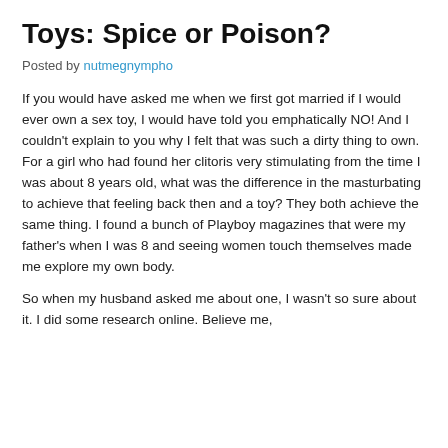Toys: Spice or Poison?
Posted by nutmegnympho
If you would have asked me when we first got married if I would ever own a sex toy, I would have told you emphatically NO! And I couldn't explain to you why I felt that was such a dirty thing to own. For a girl who had found her clitoris very stimulating from the time I was about 8 years old, what was the difference in the masturbating to achieve that feeling back then and a toy? They both achieve the same thing. I found a bunch of Playboy magazines that were my father's when I was 8 and seeing women touch themselves made me explore my own body.
So when my husband asked me about one, I wasn't so sure about it. I did some research online. Believe me,